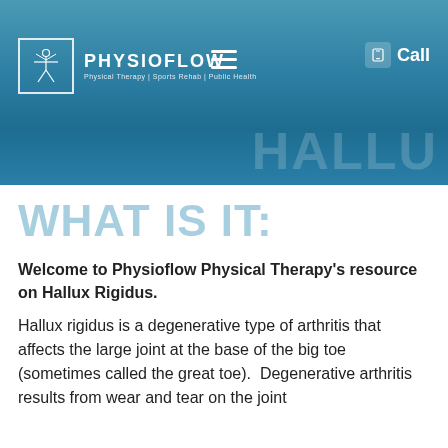[Figure (screenshot): Physioflow Physical Therapy website header banner with teal/blue gradient background, logo (Vitruvian man in box), PHYSIOFLOW name, hamburger menu icon, Call button with phone icon, and HALLU watermark text]
WHAT IS IT:
Welcome to Physioflow Physical Therapy's resource on Hallux Rigidus.
Hallux rigidus is a degenerative type of arthritis that affects the large joint at the base of the big toe (sometimes called the great toe).  Degenerative arthritis results from wear and tear on the joint